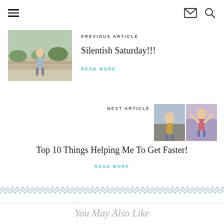Navigation header with hamburger menu, mail icon, and search icon
PREVIOUS ARTICLE
[Figure (photo): Photo of a girl standing outside near rocks and greenery]
Silentish Saturday!!!
READ MORE
NEXT ARTICLE
[Figure (photo): Two photos of runners at a race]
Top 10 Things Helping Me To Get Faster!
READ MORE
You May Also Like